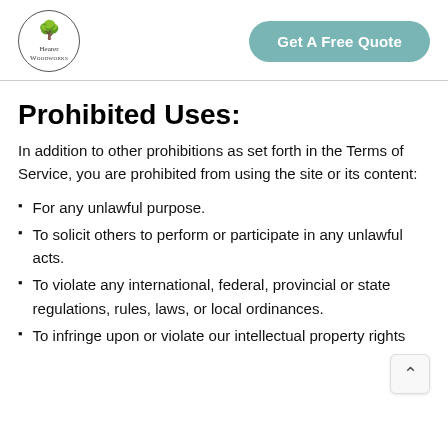Hearer Woodworks — Get A Free Quote
Prohibited Uses:
In addition to other prohibitions as set forth in the Terms of Service, you are prohibited from using the site or its content:
For any unlawful purpose.
To solicit others to perform or participate in any unlawful acts.
To violate any international, federal, provincial or state regulations, rules, laws, or local ordinances.
To infringe upon or violate our intellectual property rights